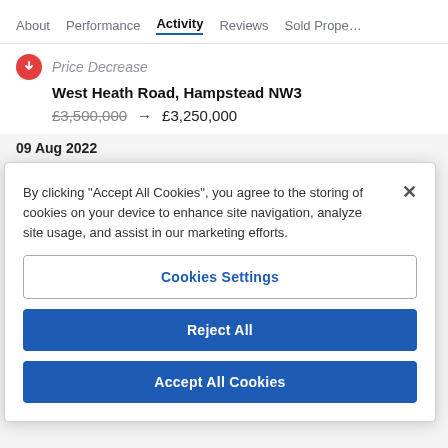About  Performance  Activity  Reviews  Sold Prope...
Price Decrease
West Heath Road, Hampstead NW3
£3,500,000 → £3,250,000
09 Aug 2022
By clicking "Accept All Cookies", you agree to the storing of cookies on your device to enhance site navigation, analyze site usage, and assist in our marketing efforts.
Cookies Settings
Reject All
Accept All Cookies